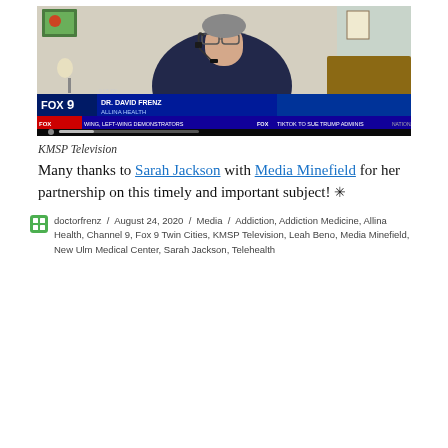[Figure (screenshot): Fox 9 news video screenshot showing DR. DAVID FRENZ from ALLINA HEALTH on a video call, wearing a headset. Lower thirds show FOX 9 branding, ticker text reading 'WING, LEFT-WING DEMONSTRATORS' and 'TIKTOK TO SUE TRUMP ADMINIS' and 'NATIONAL'. Timestamp 9:15, temperature 75°F.]
KMSP Television
Many thanks to Sarah Jackson with Media Minefield for her partnership on this timely and important subject! ✳
doctorfrenz / August 24, 2020 / Media / Addiction, Addiction Medicine, Allina Health, Channel 9, Fox 9 Twin Cities, KMSP Television, Leah Beno, Media Minefield, New Ulm Medical Center, Sarah Jackson, Telehealth